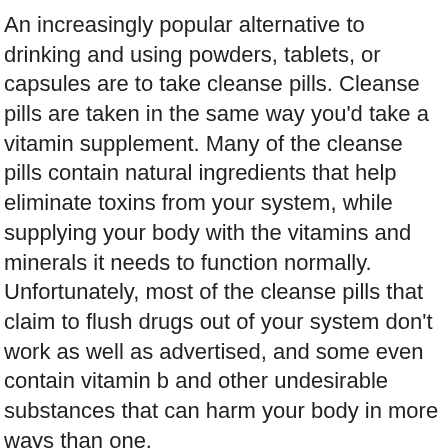An increasingly popular alternative to drinking and using powders, tablets, or capsules are to take cleanse pills. Cleanse pills are taken in the same way you'd take a vitamin supplement. Many of the cleanse pills contain natural ingredients that help eliminate toxins from your system, while supplying your body with the vitamins and minerals it needs to function normally. Unfortunately, most of the cleanse pills that claim to flush drugs out of your system don't work as well as advertised, and some even contain vitamin b and other undesirable substances that can harm your body in more ways than one.
The better pills contain no chemicals at all, and they are generally made with herbal ingredients that are known for their effectiveness and safety. Most capsules for flush out vitamins and other nutrients, including herbal extracts like aloe,